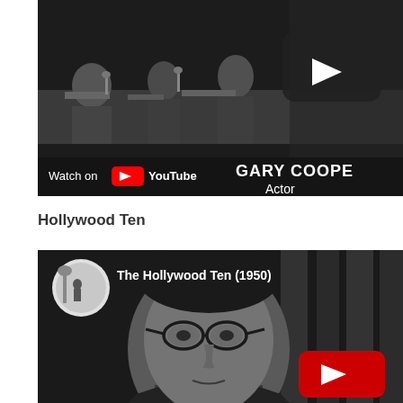[Figure (screenshot): Black and white YouTube video thumbnail showing a HUAC hearing scene with Gary Cooper labeled as 'Actor'. A YouTube play button overlay is visible, along with 'Watch on YouTube' text at the bottom left. Text on screen reads 'GARY COOPE' and 'Actor'.]
Hollywood Ten
[Figure (screenshot): Black and white YouTube video thumbnail for 'The Hollywood Ten (1950)'. Shows a man with glasses in close-up. A red YouTube play button is visible at bottom right. A circular YouTube logo/icon is at top left next to the title text.]